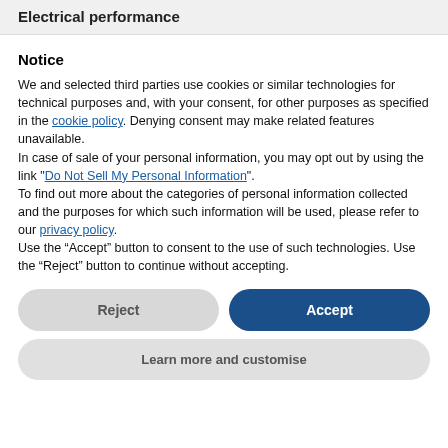Electrical performance
Notice
We and selected third parties use cookies or similar technologies for technical purposes and, with your consent, for other purposes as specified in the cookie policy. Denying consent may make related features unavailable.
In case of sale of your personal information, you may opt out by using the link "Do Not Sell My Personal Information".
To find out more about the categories of personal information collected and the purposes for which such information will be used, please refer to our privacy policy.
Use the “Accept” button to consent to the use of such technologies. Use the “Reject” button to continue without accepting.
Reject
Accept
Learn more and customise